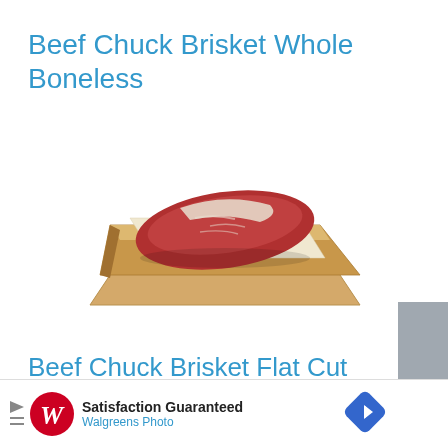Beef Chuck Brisket Whole Boneless
[Figure (photo): A raw beef brisket cut sitting on a wooden cutting board with a piece of butcher paper beneath it, white background.]
Beef Chuck Brisket Flat Cut Pasture-Raised
[Figure (logo): Walgreens Photo advertisement banner with Satisfaction Guaranteed text, Walgreens W logo, and a blue navigation arrow icon.]